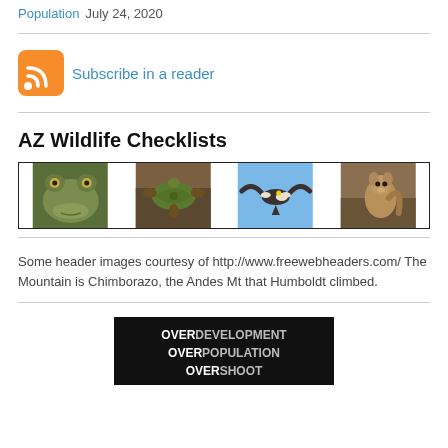Population July 24, 2020
Subscribe in a reader
AZ Wildlife Checklists
[Figure (photo): Four wildlife photos side by side: a frog close-up, a turtle on a log, a bird in flight, and a squirrel.]
Some header images courtesy of http://www.freewebheaders.com/ The Mountain is Chimborazo, the Andes Mt that Humboldt climbed.
[Figure (illustration): Black banner image with bold white text: OVERDEVELOPMENT OVERPOPULATION OVERSHOOT]